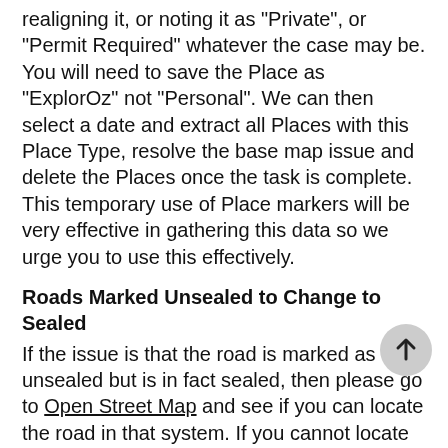realigning it, or noting it as "Private", or "Permit Required" whatever the case may be. You will need to save the Place as "ExplorOz" not "Personal". We can then select a date and extract all Places with this Place Type, resolve the base map issue and delete the Places once the task is complete. This temporary use of Place markers will be very effective in gathering this data so we urge you to use this effectively.
Roads Marked Unsealed to Change to Sealed
If the issue is that the road is marked as unsealed but is in fact sealed, then please go to Open Street Map and see if you can locate the road in that system. If you cannot locate the road it is likley that the road is stored in the ExplorOz roads database so please use the option detailed above to submit road map corrections.